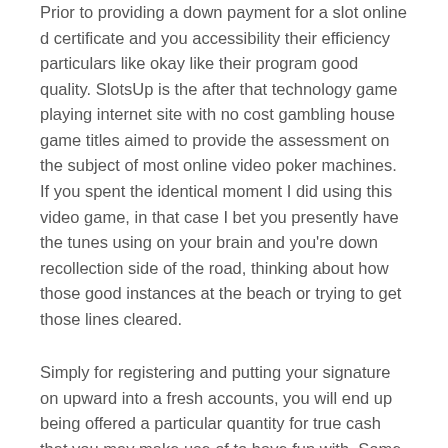Prior to providing a down payment for a slot online d certificate and you accessibility their efficiency particulars like okay like their program good quality. SlotsUp is the after that technology game playing internet site with no cost gambling house game titles aimed to provide the assessment on the subject of most online video poker machines. If you spent the identical moment I did using this video game, in that case I bet you presently have the tunes using on your brain and you're down recollection side of the road, thinking about how those good instances at the beach or trying to get those lines cleared.
Simply for registering and putting your signature on upward into a fresh accounts, you will end up being offered a particular quantity for true cash that you may make use of to have fun with. Some of these are no cost moves on credit card enrollment, which methods that you will possess to enter your credit rating or debit credit card details before actually claiming.